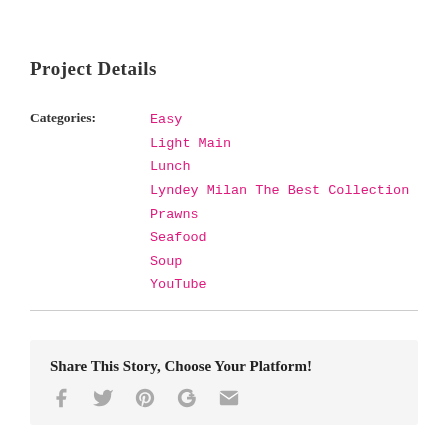Project Details
Categories: Easy, Light Main, Lunch, Lyndey Milan The Best Collection, Prawns, Seafood, Soup, YouTube
Share This Story, Choose Your Platform!